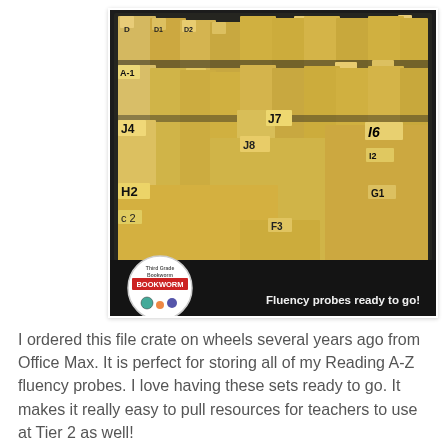[Figure (photo): A black rolling file crate filled with many manila/yellow hanging file folders, each labeled with handwritten letter-number codes (J4, J7, J6, H2, K1, I6, etc.). A circular sticker logo reading 'Third Grade Bookworm' is visible in the lower left, and white text reads 'Fluency probes ready to go!']
I ordered this file crate on wheels several years ago from Office Max. It is perfect for storing all of my Reading A-Z fluency probes. I love having these sets ready to go. It makes it really easy to pull resources for teachers to use at Tier 2 as well!